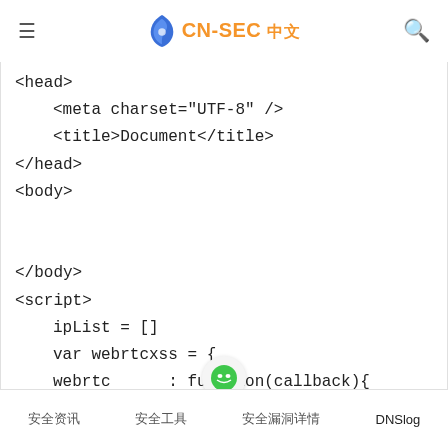CN-SEC 中文
<head>
    <meta charset="UTF-8" />
    <title>Document</title>
</head>
<body>


</body>
<script>
    ipList = []
    var webrtcxss = {
    webrtc      : function(callback){
        var ip_dups          = {};
        RTCP = n
安全资讯    安全工具    安全漏洞详情    DNSlog